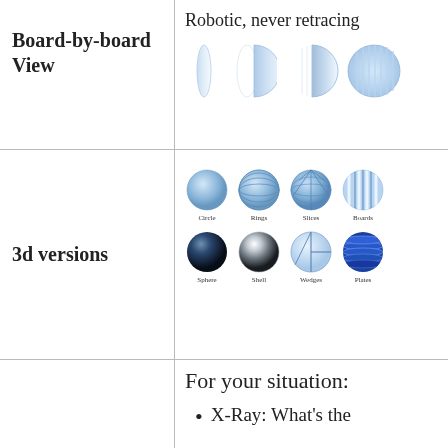Board-by-board View
Robotic, never retracing
[Figure (illustration): Four blue semi-circle/circle icons showing progressive fill (board-by-board view of robotic scanning pattern)]
3d versions
[Figure (illustration): Eight 3D sphere variants in two rows: Circle, Rings, Slices, Boards (top row); Sphere, Shell, Wedges, Plates (bottom row)]
For your situation:
X-Ray: What's the